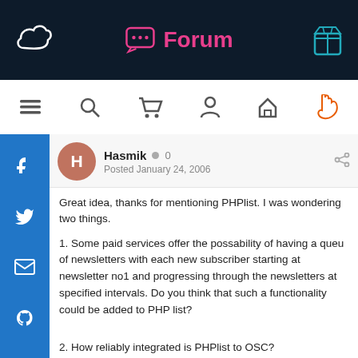[Figure (screenshot): Forum website top navigation bar with dark background, chat bubble icon and 'Forum' text in pink, cloud logo on left, box logo on right]
[Figure (screenshot): Icon navigation row with hamburger menu, search, cart, user, house, and hand/pointer icons]
[Figure (screenshot): Blue social sidebar with Facebook, Twitter, email, and GitHub icons]
Hasmik  0
Posted January 24, 2006
Great idea, thanks for mentioning PHPlist. I was wondering two things.
1. Some paid services offer the possability of having a queu of newsletters with each new subscriber starting at newsletter no1 and progressing through the newsletters at specified intervals. Do you think that such a functionality could be added to PHP list?
2. How reliably integrated is PHPlist to OSC?